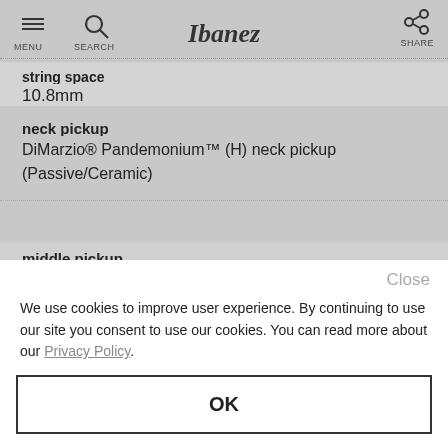MENU SEARCH Ibanez SHARE
string space
10.8mm
neck pickup
DiMarzio® Pandemonium™ (H) neck pickup (Passive/Ceramic)
middle pickup
Close
We use cookies to improve user experience. By continuing to use our site you consent to use our cookies. You can read more about our Privacy Policy.
OK